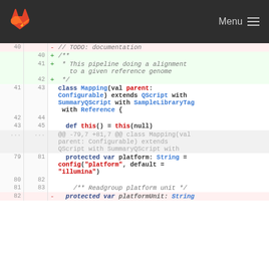[Figure (screenshot): GitLab header navigation bar with orange fox logo and Menu hamburger icon on dark background]
Diff view of a Scala/QScript source file showing additions of JSDoc comment block and context lines for class Mapping definition, def this(), and protected var platform fields.